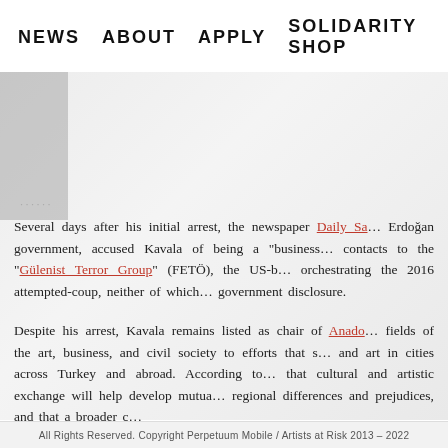NEWS   ABOUT   APPLY   SOLIDARITY SHOP
Several days after his initial arrest, the newspaper Daily Sa… Erdoğan government, accused Kavala of being a "business" contacts to the "Gülenist Terror Group" (FETÖ), the US-b… orchestrating the 2016 attempted-coup, neither of which government disclosure.
Despite his arrest, Kavala remains listed as chair of Anado… fields of the art, business, and civil society to efforts that s… and art in cities across Turkey and abroad. According to that cultural and artistic exchange will help develop mutua… regional differences and prejudices, and that a broader c…
All Rights Reserved. Copyright Perpetuum Mobile / Artists at Risk 2013 – 2022